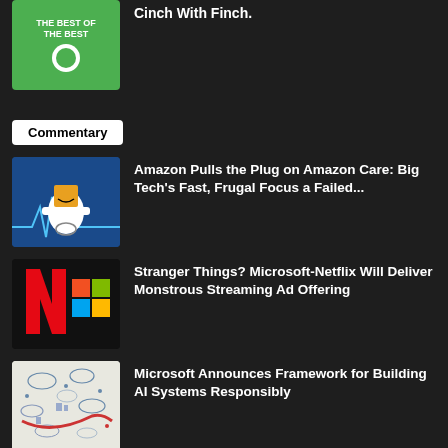Cinch With Finch.
Commentary
Amazon Pulls the Plug on Amazon Care: Big Tech’s Fast, Frugal Focus a Failed...
Stranger Things? Microsoft-Netflix Will Deliver Monstrous Streaming Ad Offering
Microsoft Announces Framework for Building AI Systems Responsibly